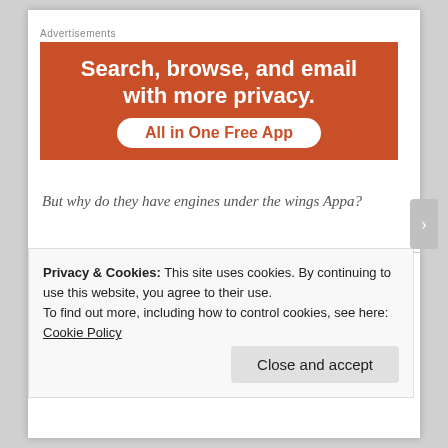Advertisements
[Figure (illustration): Orange advertisement banner with white bold text reading 'Search, browse, and email with more privacy.' and a white pill-shaped button labeled 'All in One Free App' in orange text.]
But why do they have engines under the wings Appa?
Privacy & Cookies: This site uses cookies. By continuing to use this website, you agree to their use.
To find out more, including how to control cookies, see here: Cookie Policy
Close and accept